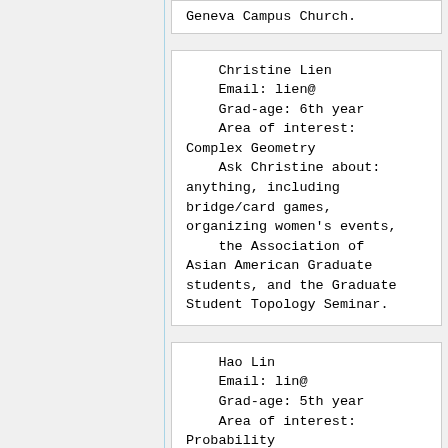Geneva Campus Church.
Christine Lien
    Email: lien@
    Grad-age: 6th year
    Area of interest: Complex Geometry
    Ask Christine about: anything, including bridge/card games, organizing women's events,
    the Association of Asian American Graduate students, and the Graduate Student Topology Seminar.
Hao Lin
    Email: lin@
    Grad-age: 5th year
    Area of interest: Probability
    Ask Hao about: sports and anything about China